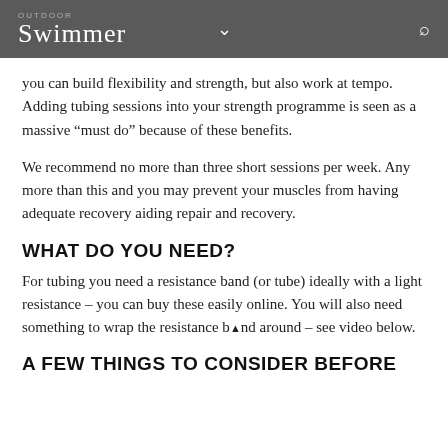OUTDOOR Swimmer
you can build flexibility and strength, but also work at tempo. Adding tubing sessions into your strength programme is seen as a massive “must do” because of these benefits.
We recommend no more than three short sessions per week. Any more than this and you may prevent your muscles from having adequate recovery aiding repair and recovery.
WHAT DO YOU NEED?
For tubing you need a resistance band (or tube) ideally with a light resistance – you can buy these easily online. You will also need something to wrap the resistance band around – see video below.
A FEW THINGS TO CONSIDER BEFORE